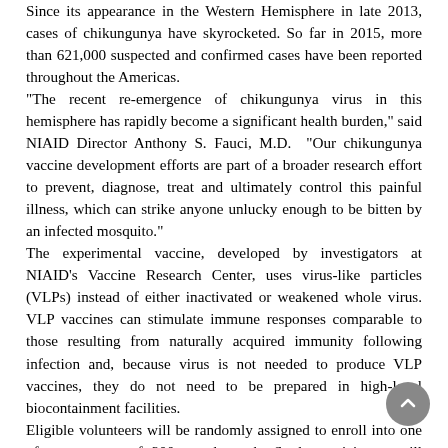Since its appearance in the Western Hemisphere in late 2013, cases of chikungunya have skyrocketed. So far in 2015, more than 621,000 suspected and confirmed cases have been reported throughout the Americas. "The recent re-emergence of chikungunya virus in this hemisphere has rapidly become a significant health burden," said NIAID Director Anthony S. Fauci, M.D. "Our chikungunya vaccine development efforts are part of a broader research effort to prevent, diagnose, treat and ultimately control this painful illness, which can strike anyone unlucky enough to be bitten by an infected mosquito." The experimental vaccine, developed by investigators at NIAID's Vaccine Research Center, uses virus-like particles (VLPs) instead of either inactivated or weakened whole virus. VLP vaccines can stimulate immune responses comparable to those resulting from naturally acquired immunity following infection and, because virus is not needed to produce VLP vaccines, they do not need to be prepared in high-level biocontainment facilities. Eligible volunteers will be randomly assigned to enroll into one of two groups of 200 people each. Study participants will receive either two doses of the candidate vaccine spaced 28 days apart or two doses of an inactive